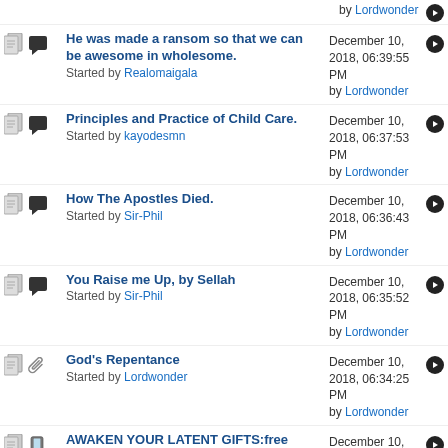by Lordwonder
He was made a ransom so that we can be awesome in wholesome. Started by Realomaigala | December 10, 2018, 06:39:55 PM by Lordwonder
Principles and Practice of Child Care. Started by kayodesmn | December 10, 2018, 06:37:53 PM by Lordwonder
How The Apostles Died. Started by Sir-Phil | December 10, 2018, 06:36:43 PM by Lordwonder
You Raise me Up, by Sellah Started by Sir-Phil | December 10, 2018, 06:35:52 PM by Lordwonder
God's Repentance Started by Lordwonder | December 10, 2018, 06:34:25 PM by Lordwonder
AWAKEN YOUR LATENT GIFTS:free from(FOS LORD) Started by washington | December 10, 2018, 03:30:36 AM by Lordwonder
What have You to Tell the Lord? Started by Sir-Phil | December 10, 2018, 03:28:18 AM by Lordwonder